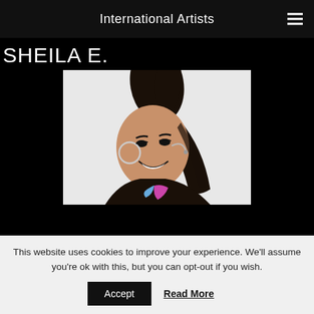International Artists
SHEILA E.
[Figure (photo): Portrait photo of Sheila E., a woman with long black hair in a high ponytail, wearing a leather jacket with colorful accents, smiling, with a microphone headset. White background.]
This website uses cookies to improve your experience. We'll assume you're ok with this, but you can opt-out if you wish.
Accept   Read More